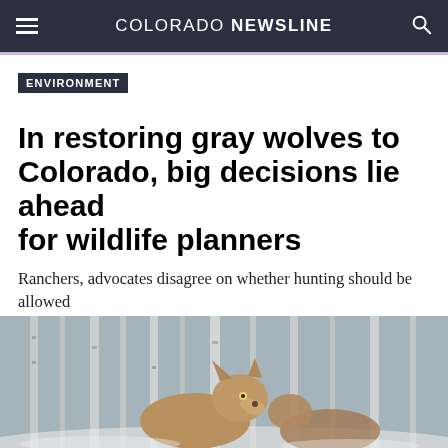COLORADO NEWSLINE
ENVIRONMENT
In restoring gray wolves to Colorado, big decisions lie ahead for wildlife planners
Ranchers, advocates disagree on whether hunting should be allowed
BY: FAITH MILLER - DECEMBER 3, 2021  5:00 AM
[Figure (infographic): Row of six social media sharing icons (Twitter, LinkedIn, Facebook, Email, Link, Print) as dark gray circles on white background]
[Figure (photo): Photo of a gray wolf in a winter forest setting with bare birch trees in the background]